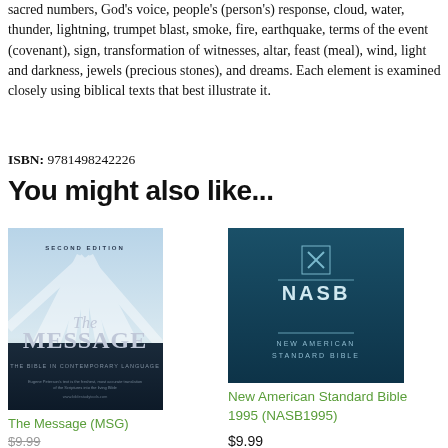sacred numbers, God's voice, people's (person's) response, cloud, water, thunder, lightning, trumpet blast, smoke, fire, earthquake, terms of the event (covenant), sign, transformation of witnesses, altar, feast (meal), wind, light and darkness, jewels (precious stones), and dreams. Each element is examined closely using biblical texts that best illustrate it.
ISBN: 9781498242226
You might also like...
[Figure (photo): Book cover of The Message (MSG) - showing rays of light and text]
The Message (MSG)
$9.99 (strikethrough)
[Figure (photo): Book cover of New American Standard Bible 1995 (NASB1995) - teal/dark blue cover]
New American Standard Bible 1995 (NASB1995)
$9.99